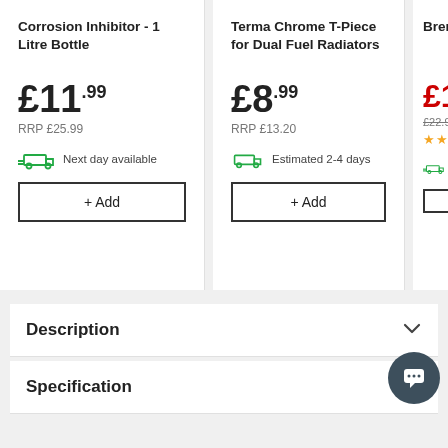Corrosion Inhibitor - 1 Litre Bottle
£11.99
RRP £25.99
Next day available
+ Add
Terma Chrome T-Piece for Dual Fuel Radiators
£8.99
RRP £13.20
Estimated 2-4 days
+ Add
Bren Radi
£17
£22.9
Description
Specification